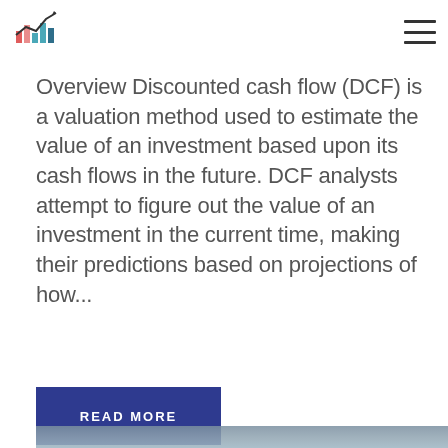[Figure (logo): Finance/investment logo with colorful bar chart and upward arrow]
Overview Discounted cash flow (DCF) is a valuation method used to estimate the value of an investment based upon its cash flows in the future. DCF analysts attempt to figure out the value of an investment in the current time, making their predictions based on projections of how...
READ MORE
[Figure (photo): Partial bottom image showing a metallic or water-like blue-grey textured surface]